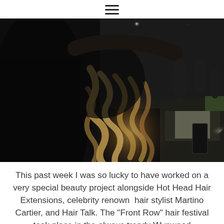≡
[Figure (photo): A dark, atmospheric photo showing the back of a person's head with long, voluminous curly blonde/brown ombre hair being styled or held at a beauty event. The background shows blurred event venue lighting and people.]
This past week I was so lucky to have worked on a very special beauty project alongside Hot Head Hair Extensions, celebrity renown  hair stylist Martino Cartier, and Hair Talk. The "Front Row" hair festival took place in the always trendy Wynwood